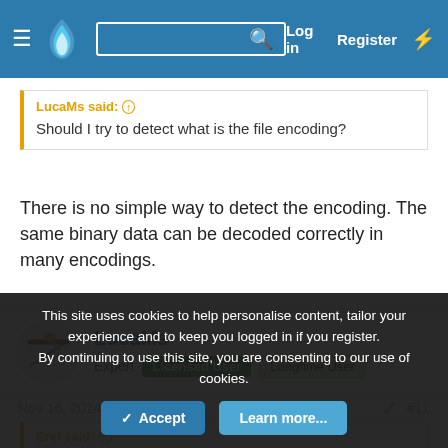GitLab forum header with menu, logo, search, Log in, Register, lightning bolt
LucaMs said: ↑
Should I try to detect what is the file encoding?
There is no simple way to detect the encoding. The same binary data can be decoded correctly in many encodings.
LucaMs
Expert  Licensed User  Longtime User
Nov 16, 2014  #11
Erel said: ↑
There is no simple way to detect the encoding. The same binary data...
This site uses cookies to help personalise content, tailor your experience and to keep you logged in if you register.
By continuing to use this site, you are consenting to our use of cookies.
Accept  Learn more...